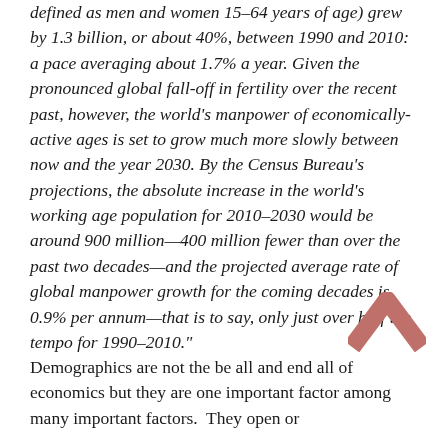defined as men and women 15–64 years of age) grew by 1.3 billion, or about 40%, between 1990 and 2010: a pace averaging about 1.7% a year. Given the pronounced global fall-off in fertility over the recent past, however, the world's manpower of economically-active ages is set to grow much more slowly between now and the year 2030. By the Census Bureau's projections, the absolute increase in the world's working age population for 2010-2030 would be around 900 million—400 million fewer than over the past two decades—and the projected average rate of global manpower growth for the coming decades is 0.9% per annum—that is to say, only just over half the tempo for 1990–2010."
[Figure (illustration): A red/pink chevron (upward-pointing arrow/caret) decorative element in the lower right area of the page]
Demographics are not the be all and end all of economics but they are one important factor among many important factors.  They open or